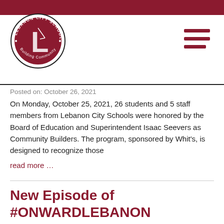[Figure (logo): Lebanon City Schools circular logo with letter L and text 'Building Community']
Posted on: October 26, 2021
On Monday, October 25, 2021, 26 students and 5 staff members from Lebanon City Schools were honored by the Board of Education and Superintendent Isaac Seevers as Community Builders. The program, sponsored by Whit's, is designed to recognize those
read more …
New Episode of #ONWARDLEBANON
Posted on: October 12, 2021
The October 2021 episode includes a review of our mission, Building Community, an introduction to new Treasurer Karen